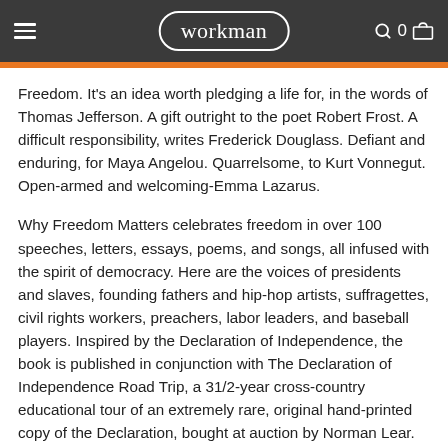workman
Freedom. It’s an idea worth pledging a life for, in the words of Thomas Jefferson. A gift outright to the poet Robert Frost. A difficult responsibility, writes Frederick Douglass. Defiant and enduring, for Maya Angelou. Quarrelsome, to Kurt Vonnegut. Open-armed and welcoming-Emma Lazarus.
Why Freedom Matters celebrates freedom in over 100 speeches, letters, essays, poems, and songs, all infused with the spirit of democracy. Here are the voices of presidents and slaves, founding fathers and hip-hop artists, suffragettes, civil rights workers, preachers, labor leaders, and baseball players. Inspired by the Declaration of Independence, the book is published in conjunction with The Declaration of Independence Road Trip, a 31/2-year cross-country educational tour of an extremely rare, original hand-printed copy of the Declaration, bought at auction by Norman Lear.